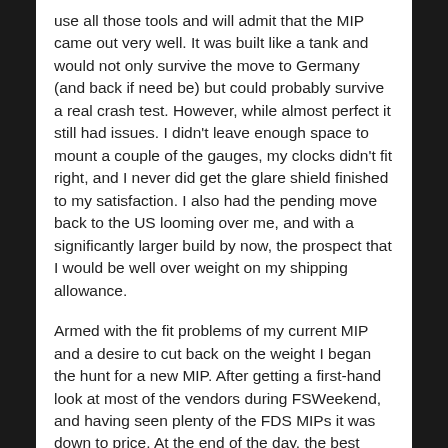use all those tools and will admit that the MIP came out very well. It was built like a tank and would not only survive the move to Germany (and back if need be) but could probably survive a real crash test. However, while almost perfect it still had issues. I didn't leave enough space to mount a couple of the gauges, my clocks didn't fit right, and I never did get the glare shield finished to my satisfaction. I also had the pending move back to the US looming over me, and with a significantly larger build by now, the prospect that I would be well over weight on my shipping allowance.
Armed with the fit problems of my current MIP and a desire to cut back on the weight I began the hunt for a new MIP. After getting a first-hand look at most of the vendors during FSWeekend, and having seen plenty of the FDS MIPs it was down to price. At the end of the day, the best bang for the buck was still for me to order from FDS and have it shipped to Germany. While several European vendors came close, by the time I factored in shipping and VAT they were well above the total price